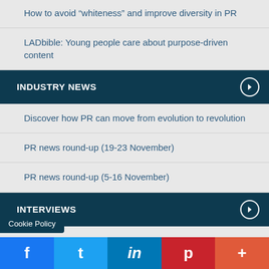How to avoid “whiteness” and improve diversity in PR
LADbible: Young people care about purpose-driven content
INDUSTRY NEWS
Discover how PR can move from evolution to revolution
PR news round-up (19-23 November)
PR news round-up (5-16 November)
INTERVIEWS
60 Seconds with The Academy co-founder Mitch Kaye
60 Seconds with Curzon PR’s Farzana
Cookie Policy | Facebook | Twitter | LinkedIn | Pinterest | More